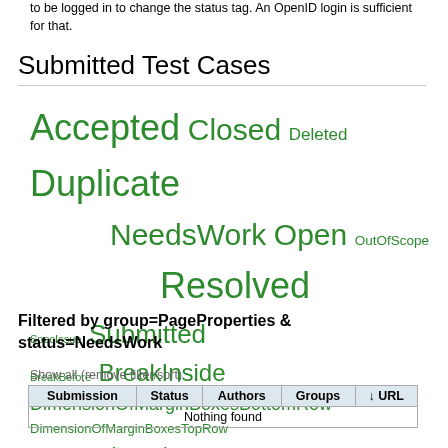to be logged in to change the status tag. An OpenID login is sufficient for that.
Submitted Test Cases
[Figure (other): Tag cloud of test case statuses and groups in green: Accepted, Closed, Deleted, Duplicate, NeedsWork, Open, OutOfScope, Resolved, SpecIssue, Submitted, BreakBefore, BreakInside, DimensionOfMarginBoxesBottomRow, DimensionOfMarginBoxesTopRow, ImageOrientation, Images, MarginBoxes, Orphans, PageBreaks, PageProperties, PageSize, Widows]
Filtered by group=PageProperties & status=NeedsWork
Show all (remove filter/sort)
| Submission | Status | Authors | Groups | ↓ URL |
| --- | --- | --- | --- | --- |
| Nothing found |  |  |  |  |